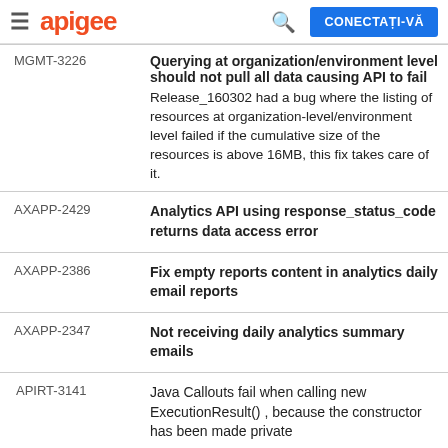apigee  CONECTAȚI-VĂ
| ID | Description |
| --- | --- |
| MGMT-3226 | Querying at organization/environment level should not pull all data causing API to fail
Release_160302 had a bug where the listing of resources at organization-level/environment level failed if the cumulative size of the resources is above 16MB, this fix takes care of it. |
| AXAPP-2429 | Analytics API using response_status_code returns data access error |
| AXAPP-2386 | Fix empty reports content in analytics daily email reports |
| AXAPP-2347 | Not receiving daily analytics summary emails |
| APIRT-3141 | Java Callouts fail when calling new ExecutionResult() , because the constructor has been made private |
| APIRT-3140 | ServiceCallout policy not working in HEAD |